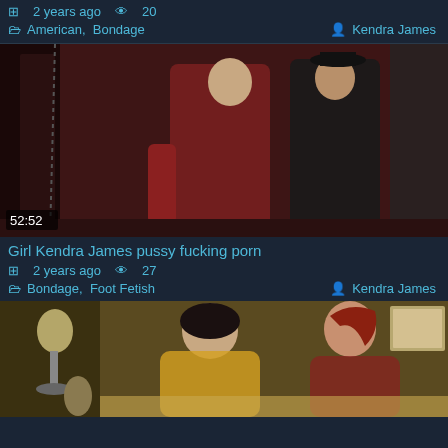Pigtailed Kendra James pornstar pussy fucking ANA nuso
2 years ago  20
American, Bondage  Kendra James
[Figure (photo): Two women in costumes in a dark red room, one in a red outfit, one in black leather with a hat. Duration overlay: 52:52]
Girl Kendra James pussy fucking porn
2 years ago  27
Bondage, Foot Fetish  Kendra James
[Figure (photo): Two women, one with dark hair and one with red hair, in a room with warm lighting]